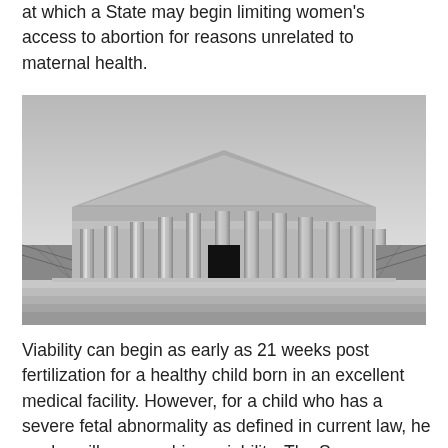at which a State may begin limiting women's access to abortion for reasons unrelated to maternal health.
[Figure (photo): Black and white photograph of the United States Supreme Court building, taken from a low angle showing the front facade with large Corinthian columns, the triangular pediment, and wide marble steps leading up to the entrance.]
Viability can begin as early as 21 weeks post fertilization for a healthy child born in an excellent medical facility. However, for a child who has a severe fetal abnormality as defined in current law, he or she will never achieve viability. The Supreme